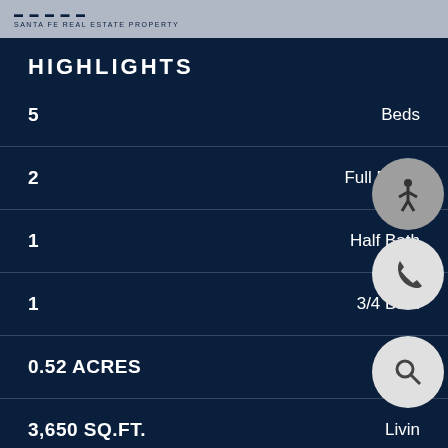SANTA FE REAL ESTATE PROPERTY
HIGHLIGHTS
5 — Beds
2 — Full Baths
1 — Half Bath
1 — 3/4 Bath
0.52 ACRES — Lot
3,650 SQ.FT. — Living
SOLD — Status
202101057 — MLS®